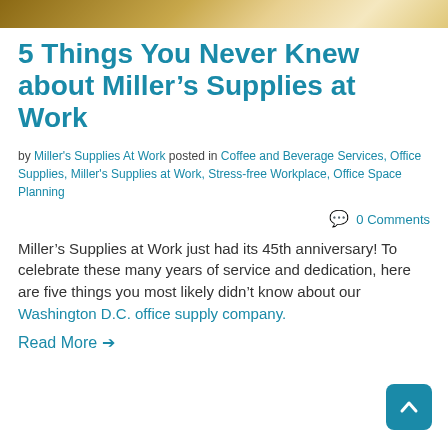[Figure (photo): Decorative image bar at top of page showing a wooden/metallic textured surface in brown and gold tones]
5 Things You Never Knew about Miller’s Supplies at Work
by Miller's Supplies At Work posted in Coffee and Beverage Services, Office Supplies, Miller's Supplies at Work, Stress-free Workplace, Office Space Planning
0 Comments
Miller’s Supplies at Work just had its 45th anniversary! To celebrate these many years of service and dedication, here are five things you most likely didn’t know about our Washington D.C. office supply company.
Read More →